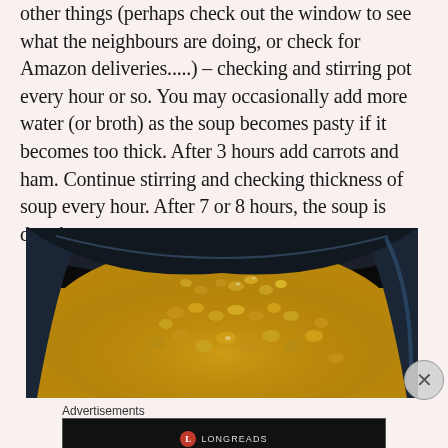other things (perhaps check out the window to see what the neighbours are doing, or check for Amazon deliveries.....) – checking and stirring pot every hour or so. You may occasionally add more water (or broth) as the soup becomes pasty if it becomes too thick. After 3 hours add carrots and ham. Continue stirring and checking thickness of soup every hour. After 7 or 8 hours, the soup is done!
[Figure (photo): Top-down photo of a dark pot containing a thick golden-yellow pea soup with split peas visible floating on the surface.]
Advertisements
[Figure (other): Advertisement box with dark background showing Longreads logo (red circle with L) and tagline 'Read anything great lately?']